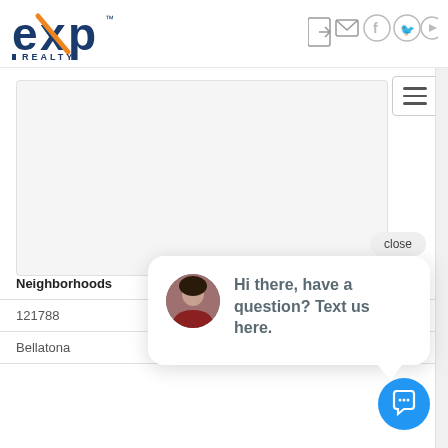[Figure (logo): eXp Realty logo — blue 'exp' text with orange X accent and 'REALTY' below]
[Figure (screenshot): Navigation icons in header: login arrow, mail envelope, Facebook circle, Twitter circle, YouTube circle]
[Figure (screenshot): Hamburger menu button (three horizontal lines) in a bordered box]
[Figure (screenshot): Gray content card area]
close
Hi there, have a question? Text us here.
| Neighborhoods |
| --- |
| 121788 |
| Bellatona |